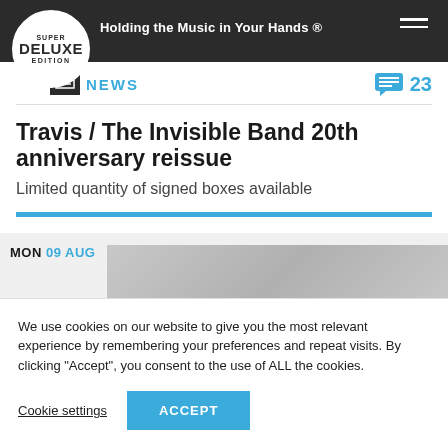Super Deluxe Edition — Holding the Music in Your Hands ®
NEWS  23
Travis / The Invisible Band 20th anniversary reissue
Limited quantity of signed boxes available
MON 09 AUG
We use cookies on our website to give you the most relevant experience by remembering your preferences and repeat visits. By clicking "Accept", you consent to the use of ALL the cookies.
Cookie settings  ACCEPT